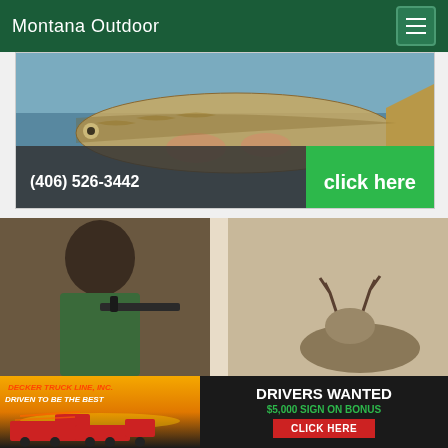Montana Outdoor
[Figure (screenshot): Fishing advertisement showing a large walleye fish being held up, with phone number (406) 526-3442 and a green 'click here' button overlay at the bottom]
[Figure (photo): Indoor photo showing a child in camouflage aiming a rifle at a door, with a deer or animal visible through the doorway]
[Figure (infographic): Decker Truck Line, Inc. advertisement banner. Text: 'DECKER TRUCK LINE, INC. DRIVEN TO BE THE BEST' on orange/sunset background with red trucks. Right side on black: 'DRIVERS WANTED', '$5,000 SIGN ON BONUS', 'CLICK HERE' red button]